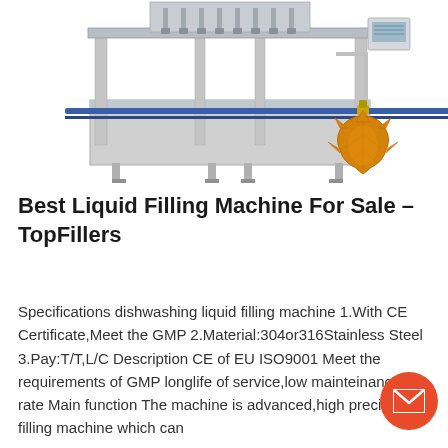[Figure (photo): Industrial liquid filling machine with stainless steel frame, multiple filling nozzles on top, conveyor belt, control panel on right, and a maple syrup leaf-shaped bottle in the foreground on the right side.]
Best Liquid Filling Machine For Sale – TopFillers
Specifications dishwashing liquid filling machine 1.With CE Certificate,Meet the GMP 2.Material:304or316Stainless Steel 3.Pay:T/T,L/C Description CE of EU ISO9001 Meet the requirements of GMP longlife of service,low mainteinance rate Main function The machine is advanced,high precision filling machine which can